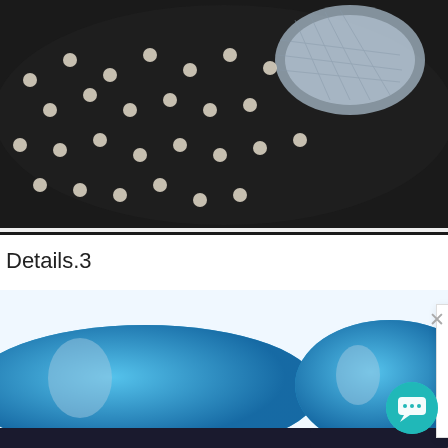[Figure (photo): Close-up photo of a black shoe insole with white perforations/dots and a transparent/silver heel cushion section visible at top right]
Details.3
TPE cushion help to reduce heel pain and decompress
[Figure (photo): Two blue orthopedic insoles shown from above, with dark bottom edges and arch cutouts visible]
Hello, We are orthotic insoles & orthopedic shoes , socks & EVA milling blocks supplier, May I know your interested products?